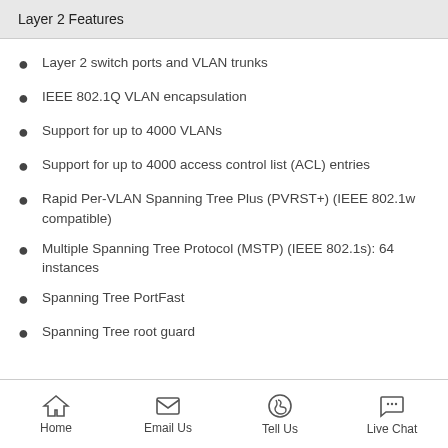Layer 2 Features
Layer 2 switch ports and VLAN trunks
IEEE 802.1Q VLAN encapsulation
Support for up to 4000 VLANs
Support for up to 4000 access control list (ACL) entries
Rapid Per-VLAN Spanning Tree Plus (PVRST+) (IEEE 802.1w compatible)
Multiple Spanning Tree Protocol (MSTP) (IEEE 802.1s): 64 instances
Spanning Tree PortFast
Spanning Tree root guard
Home  Email Us  Tell Us  Live Chat